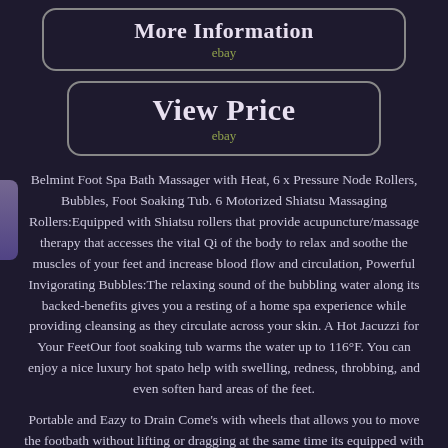[Figure (other): Button labeled 'More Information' with 'ebay' subtitle, dark background with rounded rectangle border]
[Figure (other): Button labeled 'View Price' with 'ebay' subtitle, dark background with rounded rectangle border]
Belmint Foot Spa Bath Massager with Heat, 6 x Pressure Node Rollers, Bubbles, Foot Soaking Tub. 6 Motorized Shiatsu Massaging Rollers:Equipped with Shiatsu rollers that provide acupuncture/massage therapy that accesses the vital Qi of the body to relax and soothe the muscles of your feet and increase blood flow and circulation, Powerful Invigorating Bubbles:The relaxing sound of the bubbling water along its backed-benefits gives you a resting of a home spa experience while providing cleansing as they circulate across your skin. A Hot Jacuzzi for Your FeetOur foot soaking tub warms the water up to 116°F. You can enjoy a nice luxury hot spato help with swelling, redness, throbbing, and even soften hard areas of the feet.
Portable and Eazy to Drain Come's with wheels that allows you to move the footbath without lifting or dragging at the same time its equipped with a drain pipe for easy draining Product Highlights:User-Friendly LCD screen for easy navigation Timing massage: up to 60 minutes Features 3 different massage modes Equipped with drain pipe for easy draining Spa bubbles massage Adjustable heating function up to 116F Convenient wheels for easy